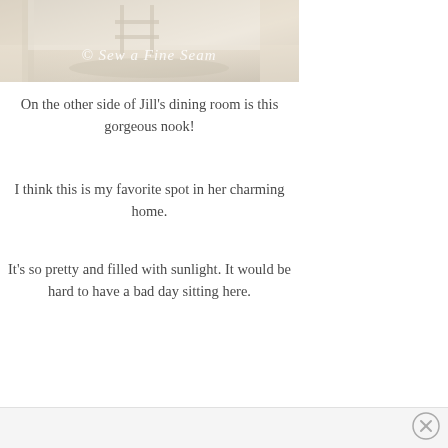[Figure (photo): Interior photo of a dining room nook with natural light, curtains, and a rug. Watermark text reads '© Sew a Fine Seam' in white script.]
On the other side of Jill's dining room is this gorgeous nook!
I think this is my favorite spot in her charming home.
It's so pretty and filled with sunlight. It would be hard to have a bad day sitting here.